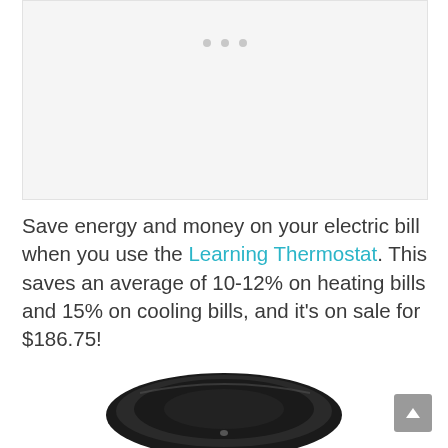[Figure (photo): Light gray placeholder image area with three small circular dots at the top center, resembling a slideshow or carousel placeholder.]
Save energy and money on your electric bill when you use the Learning Thermostat. This saves an average of 10-12% on heating bills and 15% on cooling bills, and it's on sale for $186.75!
[Figure (photo): Close-up photo of a round black Nest Learning Thermostat device, showing the top portion of the circular dial against a white background.]